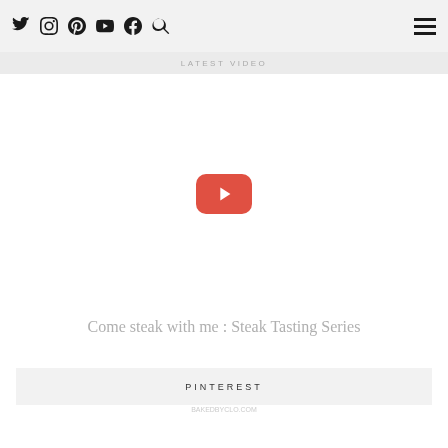Social media icons: Twitter, Instagram, Pinterest, YouTube, Facebook, Search; Hamburger menu
LATEST VIDEO
[Figure (screenshot): YouTube video embed placeholder with red YouTube play button centered on white background]
Come steak with me : Steak Tasting Series
PINTEREST